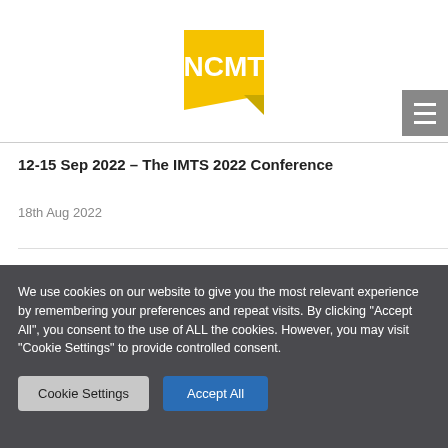[Figure (logo): NCMT logo — yellow angular shape with white bold text 'NCMT']
12-15 Sep 2022 – The IMTS 2022 Conference
18th Aug 2022
We use cookies on our website to give you the most relevant experience by remembering your preferences and repeat visits. By clicking "Accept All", you consent to the use of ALL the cookies. However, you may visit "Cookie Settings" to provide controlled consent.